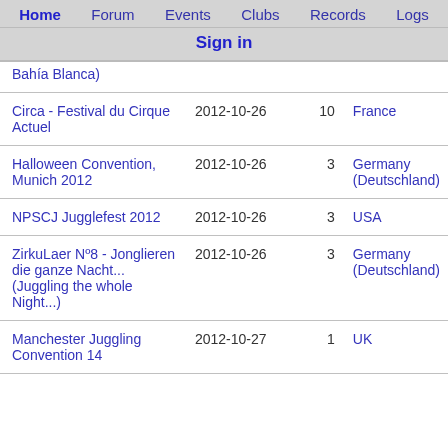Home   Forum   Events   Clubs   Records   Logs
Sign in
| Event | Date | # | Country |
| --- | --- | --- | --- |
| Bahía Blanca) |  |  |  |
| Circa - Festival du Cirque Actuel | 2012-10-26 | 10 | France |
| Halloween Convention, Munich 2012 | 2012-10-26 | 3 | Germany (Deutschland) |
| NPSCJ Jugglefest 2012 | 2012-10-26 | 3 | USA |
| ZirkuLaer Nº8 - Jonglieren die ganze Nacht... (Juggling the whole Night...) | 2012-10-26 | 3 | Germany (Deutschland) |
| Manchester Juggling Convention 14 | 2012-10-27 | 1 | UK |